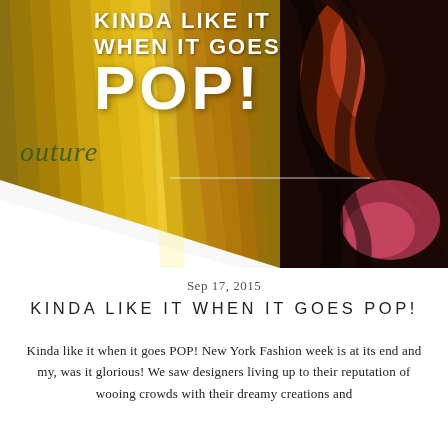[Figure (photo): Magazine/book pages spread open showing golden pleated fan-like fabric on the left side with blue sky in the upper left corner, and a dark abstract face/swirl pattern in warm reds and oranges on the right side. Text overlay reads 'KINDA LIKE IT WHEN IT GOES POP!' with the word 'outure' visible at the bottom left.]
Sep 17, 2015
KINDA LIKE IT WHEN IT GOES POP!
Kinda like it when it goes POP! New York Fashion week is at its end and my, was it glorious! We saw designers living up to their reputation of wooing crowds with their dreamy creations and